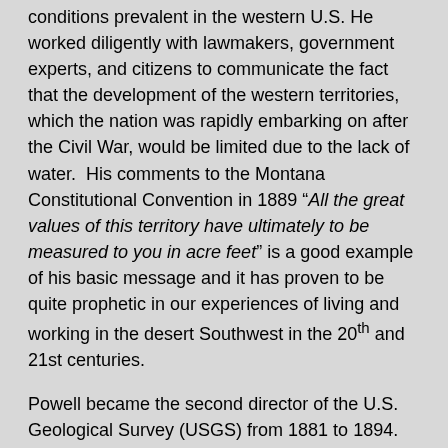conditions prevalent in the western U.S. He worked diligently with lawmakers, government experts, and citizens to communicate the fact that the development of the western territories, which the nation was rapidly embarking on after the Civil War, would be limited due to the lack of water.  His comments to the Montana Constitutional Convention in 1889 “All the great values of this territory have ultimately to be measured to you in acre feet” is a good example of his basic message and it has proven to be quite prophetic in our experiences of living and working in the desert Southwest in the 20th and 21st centuries.
Powell became the second director of the U.S. Geological Survey (USGS) from 1881 to 1894.  In this and similar capacities, he constantly advocated for policies for the development of the arid West that were consistent with the prevailing arid conditions.  As the lands in the western U.S. were being developed, the need for land “hydrologically” organized belts of 100 acres. . . this